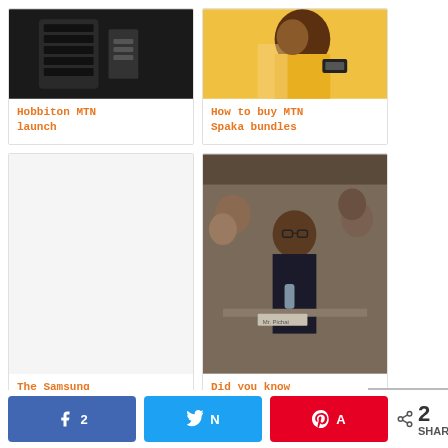[Figure (photo): MTN launch photo - person using phone/keyboard]
Hobbiton MTN launch
[Figure (photo): Woman in yellow holding phone - MTN Spaka bundles]
How to buy MTN Spaka bundles
[Figure (photo): Blank/white card area for Samsung Galaxy Note 9]
The Samsung Galaxy Note 9
[Figure (photo): Man at hearing/conference table - Did you know that the]
Did you know that the
[Figure (photo): Three women making heart signs - MTN promotion]
[Figure (photo): Woman looking at smartphone in green jacket]
k 2
N
A
2 SHARES